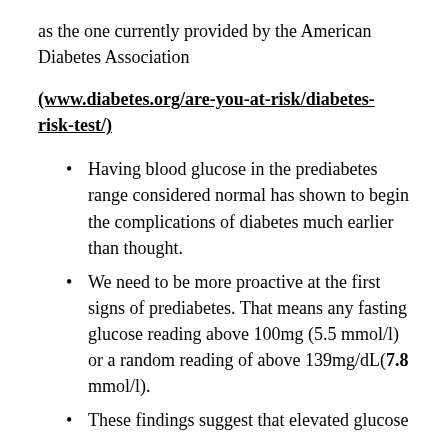as the one currently provided by the American Diabetes Association
(www.diabetes.org/are-you-at-risk/diabetes-risk-test/)
Having blood glucose in the prediabetes range considered normal has shown to begin the complications of diabetes much earlier than thought.
We need to be more proactive at the first signs of prediabetes. That means any fasting glucose reading above 100mg (5.5 mmol/l) or a random reading of above 139mg/dL(7.8 mmol/l).
These findings suggest that elevated glucose